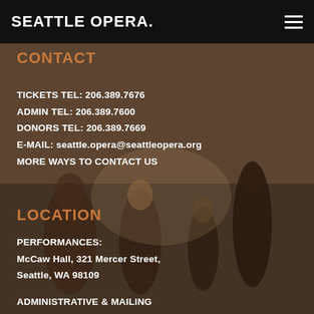SEATTLE OPERA.
CONTACT
TICKETS TEL: 206.389.7676
ADMIN TEL: 206.389.7600
DONORS TEL: 206.389.7669
E-MAIL: seattle.opera@seattleopera.org
MORE WAYS TO CONTACT US
[Figure (photo): Opera performers in period costume on stage, group scene]
LOCATION
PERFORMANCES:
McCaw Hall, 321 Mercer Street,
Seattle, WA 98109
ADMINISTRATIVE & MAILING